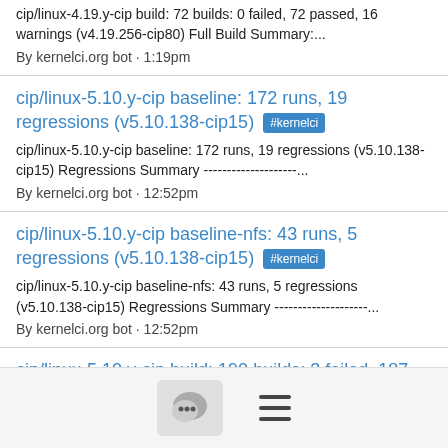cip/linux-4.19.y-cip build: 72 builds: 0 failed, 72 passed, 16 warnings (v4.19.256-cip80) Full Build Summary:...
By kernelci.org bot · 1:19pm
cip/linux-5.10.y-cip baseline: 172 runs, 19 regressions (v5.10.138-cip15) #kernelci
cip/linux-5.10.y-cip baseline: 172 runs, 19 regressions (v5.10.138-cip15) Regressions Summary --------------------...
By kernelci.org bot · 12:52pm
cip/linux-5.10.y-cip baseline-nfs: 43 runs, 5 regressions (v5.10.138-cip15) #kernelci
cip/linux-5.10.y-cip baseline-nfs: 43 runs, 5 regressions (v5.10.138-cip15) Regressions Summary --------------------...
By kernelci.org bot · 12:52pm
cip/linux-5.10.y-cip build: 190 builds: 3 failed, 187 passed, 4 errors, 10 warnings (v5.10.138-cip15)